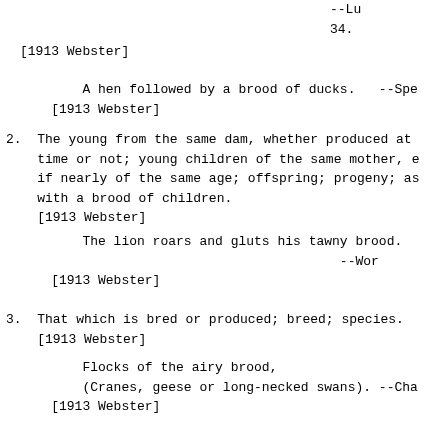--Lu
34.
[1913 Webster]
A hen followed by a brood of ducks.   --Spe
[1913 Webster]
2. The young from the same dam, whether produced at
   time or not; young children of the same mother, e
   if nearly of the same age; offspring; progeny; as
   with a brood of children.
   [1913 Webster]
The lion roars and gluts his tawny brood.
                                        --Wor
[1913 Webster]
3. That which is bred or produced; breed; species.
   [1913 Webster]
Flocks of the airy brood,
(Cranes, geese or long-necked swans). --Cha
[1913 Webster]
4. (Mining) Heavy waste in tin and copper ores.
   [1913 Webster]
To sit on brood, to ponder. [Poetic] --Shak.
   [1913 Webster]